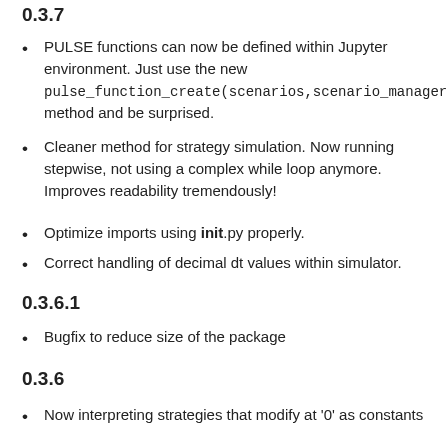0.3.7
PULSE functions can now be defined within Jupyter environment. Just use the new pulse_function_create(scenarios,scenario_managers) method and be surprised.
Cleaner method for strategy simulation. Now running stepwise, not using a complex while loop anymore. Improves readability tremendously!
Optimize imports using init.py properly.
Correct handling of decimal dt values within simulator.
0.3.6.1
Bugfix to reduce size of the package
0.3.6
Now interpreting strategies that modify at '0' as constants